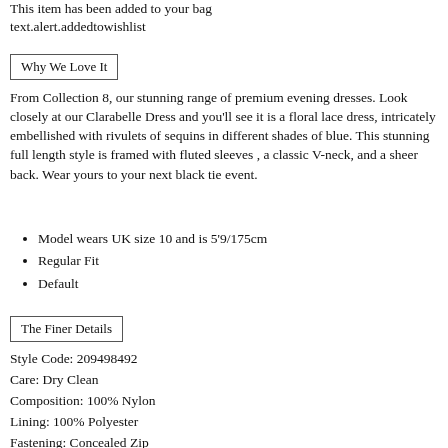This item has been added to your bag
text.alert.addedtowishlist
Why We Love It
From Collection 8, our stunning range of premium evening dresses. Look closely at our Clarabelle Dress and you'll see it is a floral lace dress, intricately embellished with rivulets of sequins in different shades of blue. This stunning full length style is framed with fluted sleeves , a classic V-neck, and a sheer back. Wear yours to your next black tie event.
Model wears UK size 10 and is 5'9/175cm
Regular Fit
Default
The Finer Details
Style Code: 209498492
Care: Dry Clean
Composition: 100% Nylon
Lining: 100% Polyester
Fastening: Concealed Zip
Length: 155cm shoulder neck point to hem